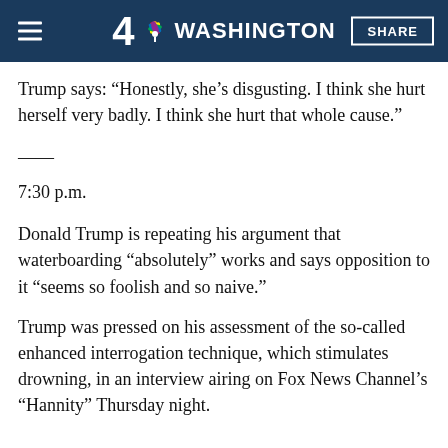4 NBC WASHINGTON SHARE
Trump says: “Honestly, she’s disgusting. I think she hurt herself very badly. I think she hurt that whole cause.”
——
7:30 p.m.
Donald Trump is repeating his argument that waterboarding “absolutely” works and says opposition to it “seems so foolish and so naive.”
Trump was pressed on his assessment of the so-called enhanced interrogation technique, which stimulates drowning, in an interview airing on Fox News Channel’s “Hannity” Thursday night.